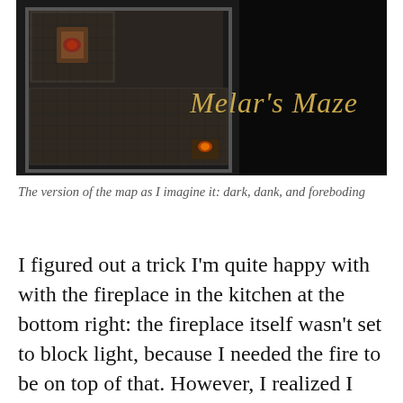[Figure (screenshot): A dark dungeon map screenshot titled 'Melar's Maze' in gold italic text on the right side. The map shows stone rooms and corridors in dark grey and brown tones with small details suggesting furniture and fire.]
The version of the map as I imagine it: dark, dank, and foreboding
I figured out a trick I'm quite happy with with the fireplace in the kitchen at the bottom right: the fireplace itself wasn't set to block light, because I needed the fire to be on top of that. However, I realized I could put an invisible wall on top of it and set that to block light and, voilá! It works quite nicely. Next time, I'll make sure to move the wall back a little on the corner, as light wouldn't bend off exactly that straight but for now it's a nice touch. I think it